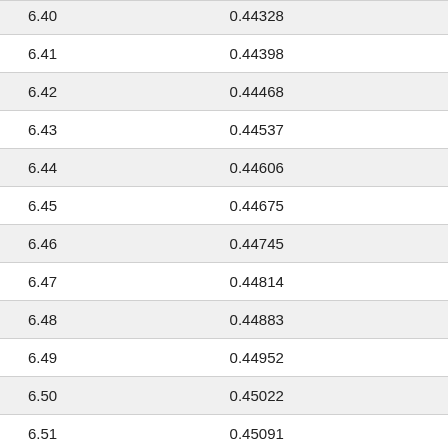| 6.40 | 0.44328 |
| 6.41 | 0.44398 |
| 6.42 | 0.44468 |
| 6.43 | 0.44537 |
| 6.44 | 0.44606 |
| 6.45 | 0.44675 |
| 6.46 | 0.44745 |
| 6.47 | 0.44814 |
| 6.48 | 0.44883 |
| 6.49 | 0.44952 |
| 6.50 | 0.45022 |
| 6.51 | 0.45091 |
| 6.52 | 0.45160 |
| 6.53 | 0.45229 |